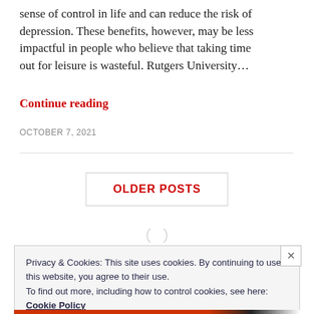sense of control in life and can reduce the risk of depression. These benefits, however, may be less impactful in people who believe that taking time out for leisure is wasteful. Rutgers University…
Continue reading
OCTOBER 7, 2021
OLDER POSTS
Privacy & Cookies: This site uses cookies. By continuing to use this website, you agree to their use.
To find out more, including how to control cookies, see here: Cookie Policy
Close and accept